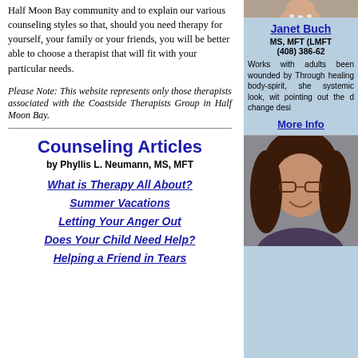Half Moon Bay community and to explain our various counseling styles so that, should you need therapy for yourself, your family or your friends, you will be better able to choose a therapist that will fit with your particular needs.
Please Note: This website represents only those therapists associated with the Coastside Therapists Group in Half Moon Bay.
Counseling Articles
by Phyllis L. Neumann, MS, MFT
What is Therapy All About?
Summer Vacations
Letting Your Anger Out
Does Your Child Need Help?
Helping a Friend in Tears
[Figure (photo): Cropped top portion of a therapist photo showing face/necklace area]
Janet Buch
MS, MFT (LMFT
(408) 386-62
Works with adults been wounded by Through healing body-spirit, she systemic look, wit pointing out the d change desi
More Info
[Figure (photo): Portrait photo of a woman with dark curly hair, glasses, and a smile, wearing dark clothing]